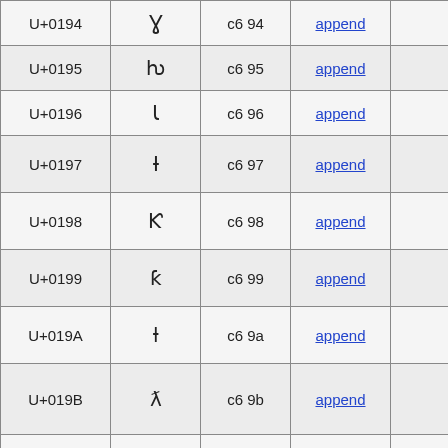| U+0194 | ɣ | c6 94 | append |  |
| U+0195 | ƕ | c6 95 | append |  |
| U+0196 | ɩ | c6 96 | append |  |
| U+0197 | ɨ | c6 97 | append |  |
| U+0198 | Ƙ | c6 98 | append |  |
| U+0199 | ƙ | c6 99 | append |  |
| U+019A | ƚ | c6 9a | append |  |
| U+019B | ƛ | c6 9b | append |  |
| U+019C | ɯ | c6 9c | append |  |